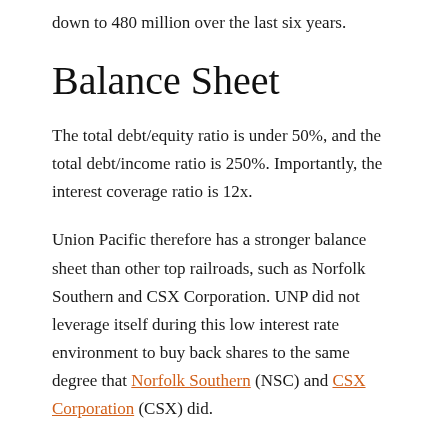down to 480 million over the last six years.
Balance Sheet
The total debt/equity ratio is under 50%, and the total debt/income ratio is 250%. Importantly, the interest coverage ratio is 12x.
Union Pacific therefore has a stronger balance sheet than other top railroads, such as Norfolk Southern and CSX Corporation. UNP did not leverage itself during this low interest rate environment to buy back shares to the same degree that Norfolk Southern (NSC) and CSX Corporation (CSX) did.